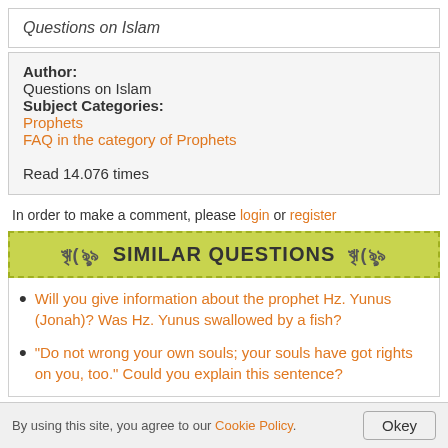Questions on Islam
Author:
Questions on Islam
Subject Categories:
Prophets
FAQ in the category of Prophets
Read 14.076 times
In order to make a comment, please login or register
SIMILAR QUESTIONS
Will you give information about the prophet Hz. Yunus (Jonah)? Was Hz. Yunus swallowed by a fish?
“Do not wrong your own souls; your souls have got rights on you, too.” Could you explain this sentence?
By using this site, you agree to our Cookie Policy.